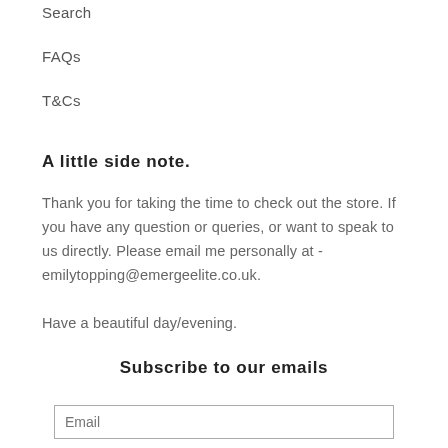Search
FAQs
T&Cs
A little side note.
Thank you for taking the time to check out the store. If you have any question or queries, or want to speak to us directly. Please email me personally at - emilytopping@emergeelite.co.uk.

Have a beautiful day/evening.
Subscribe to our emails
Email